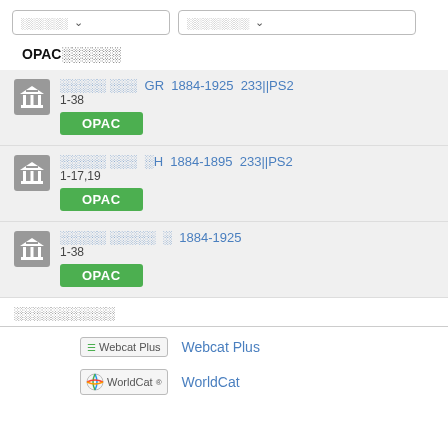Dropdown 1 / Dropdown 2 filters
OPAC checkbox filter
□□□□□ □□□  GR  1884-1925  233||PS2  1-38  OPAC
□□□□□ □□□  □H  1884-1895  233||PS2  1-17,19  OPAC
□□□□□ □□□□□  □  1884-1925  1-38  OPAC
□□□□□□□□□□□
Webcat Plus
WorldCat